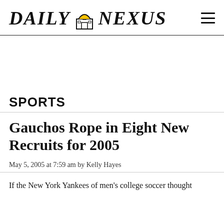DAILY NEXUS
SPORTS
Gauchos Rope in Eight New Recruits for 2005
May 5, 2005 at 7:59 am by Kelly Hayes
If the New York Yankees of men's college soccer thought